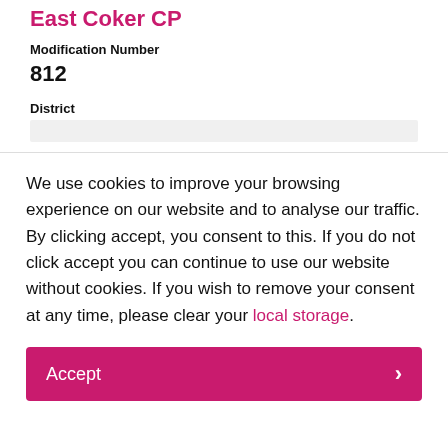East Coker CP
Modification Number
812
District
We use cookies to improve your browsing experience on our website and to analyse our traffic. By clicking accept, you consent to this. If you do not click accept you can continue to use our website without cookies. If you wish to remove your consent at any time, please clear your local storage.
Accept